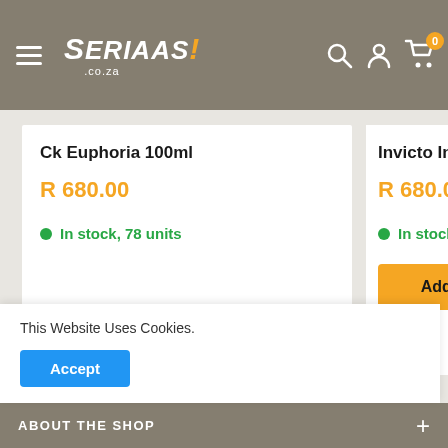SERIAAS! .co.za
Ck Euphoria 100ml
R 680.00
In stock, 78 units
Add to cart
Invicto Intense 100
R 680.00
In stock, 47 units
Add to
This Website Uses Cookies.
Accept
ABOUT THE SHOP